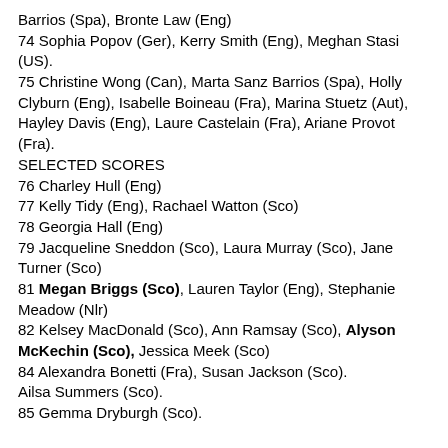Barrios (Spa), Bronte Law (Eng)
74 Sophia Popov (Ger), Kerry Smith (Eng), Meghan Stasi (US).
75 Christine Wong (Can), Marta Sanz Barrios (Spa), Holly Clyburn (Eng), Isabelle Boineau (Fra), Marina Stuetz (Aut), Hayley Davis (Eng), Laure Castelain (Fra), Ariane Provot (Fra).
SELECTED SCORES
76 Charley Hull (Eng)
77 Kelly Tidy (Eng), Rachael Watton (Sco)
78 Georgia Hall (Eng)
79 Jacqueline Sneddon (Sco), Laura Murray (Sco), Jane Turner (Sco)
81 Megan Briggs (Sco), Lauren Taylor (Eng), Stephanie Meadow (Nlr)
82 Kelsey MacDonald (Sco), Ann Ramsay (Sco), Alyson McKechin (Sco), Jessica Meek (Sco)
84 Alexandra Bonetti (Fra), Susan Jackson (Sco). Ailsa Summers (Sco).
85 Gemma Dryburgh (Sco).